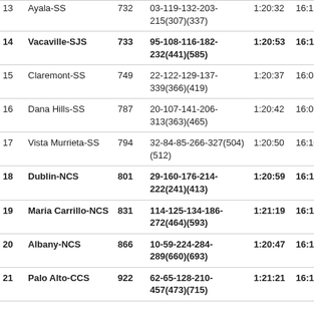| # | Team | Pts | Individuals | Time1 | Time2 | Time3 |
| --- | --- | --- | --- | --- | --- | --- |
| 13 | Ayala-SS | 732 | 03-119-132-203-215(307)(337) | 1:20:32 | 16:11 | 0:39.0 |
| 14 | Vacaville-SJS | 733 | 95-108-116-182-232(441)(585) | 1:20:53 | 16:11 | 0:32.1 |
| 15 | Claremont-SS | 749 | 22-122-129-137-339(366)(419) | 1:20:37 | 16:08 | 1:26.4 |
| 16 | Dana Hills-SS | 787 | 20-107-141-206-313(363)(465) | 1:20:42 | 16:09 | 1:25.6 |
| 17 | Vista Murrieta-SS | 794 | 32-84-85-266-327(504)(512) | 1:20:50 | 16:10 | 1:13.0 |
| 18 | Dublin-NCS | 801 | 29-160-176-214-222(241)(413) | 1:20:59 | 16:12 | 0:55.7 |
| 19 | Maria Carrillo-NCS | 831 | 114-125-134-186-272(464)(593) | 1:21:19 | 16:16 | 0:34.3 |
| 20 | Albany-NCS | 866 | 10-59-224-284-289(660)(693) | 1:20:47 | 16:10 | 1:31.4 |
| 21 | Palo Alto-CCS | 922 | 62-65-128-210-457(473)(715) | 1:21:21 | 16:17 | 1:27.3 |